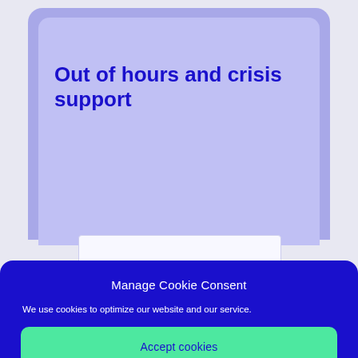[Figure (screenshot): Background showing a webpage with a light purple card containing the title 'Out of hours and crisis support' and a white input box, partially visible behind a cookie consent modal overlay.]
Out of hours and crisis support
Manage Cookie Consent
We use cookies to optimize our website and our service.
Accept cookies
Deny
View preferences
Cookie Policy   Our Direct Marketing Policy